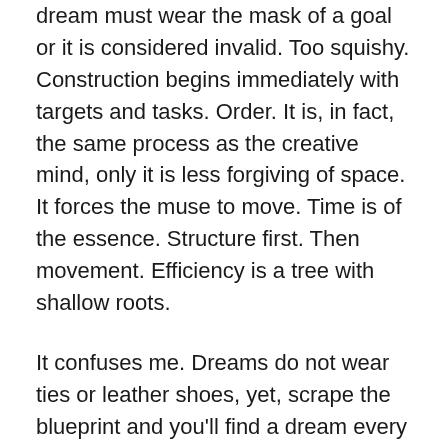dream must wear the mask of a goal or it is considered invalid. Too squishy. Construction begins immediately with targets and tasks. Order. It is, in fact, the same process as the creative mind, only it is less forgiving of space. It forces the muse to move. Time is of the essence. Structure first. Then movement. Efficiency is a tree with shallow roots.
It confuses me. Dreams do not wear ties or leather shoes, yet, scrape the blueprint and you'll find a dream every time. Perspective requires stepping away from the canvas. Standing too close for too long and loss of vision is the result. Every time. It's not a mystery or voodoo. It's physics. Great ideas and idea-break-throughs happen in the shower or walking on the trail. A clear mind. A different focus creates space. Too tight thinking, too close in for too long, sucks energy.